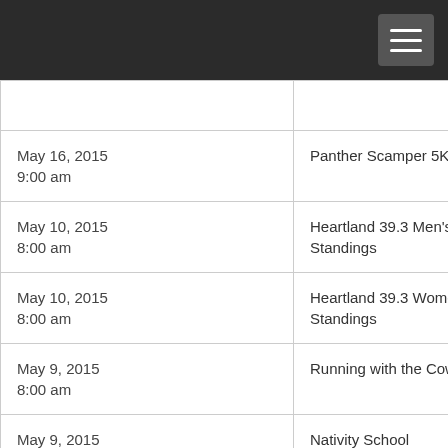| Date | Event |
| --- | --- |
|  |  |
| May 16, 2015
9:00 am | Panther Scamper 5K |
| May 10, 2015
8:00 am | Heartland 39.3 Men's Standings |
| May 10, 2015
8:00 am | Heartland 39.3 Women's Standings |
| May 9, 2015
8:00 am | Running with the Cows 5k |
| May 9, 2015 | Nativity School |